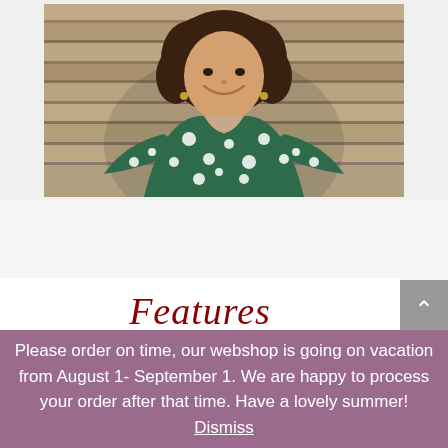[Figure (photo): A smiling woman with curly hair wearing a green polka dot dress, standing in front of a wooden plank wall background.]
Features
Please order on time, our webshop is going on vacation from August 1- September 1. We are happy to process your order after that time. Have a lovely summer! Dismiss